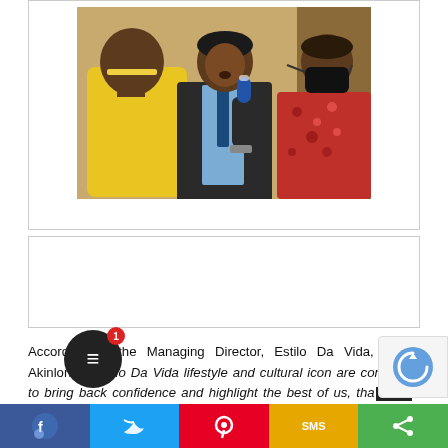[Figure (photo): A man in a dark suit speaking into a blue microphone, facing another person in a yellow t-shirt (seen from behind). A third person in a red floral outfit and wearing a black face mask stands to the right. Indoor setting with warm lighting.]
According to the Managing Director, Estilo Da Vida, Abiola Akinlonu, “Estilo Da Vida lifestyle and cultural icon are conceived to bring back confidence and highlight the best of us, that people, heritage, future and culture via cutt...